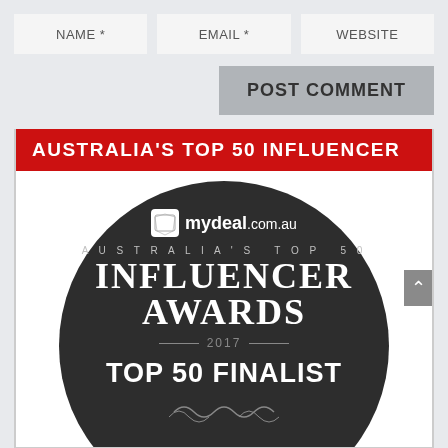NAME *
EMAIL *
WEBSITE
POST COMMENT
AUSTRALIA'S TOP 50 INFLUENCER
[Figure (logo): mydeal.com.au Australia's Top 50 Influencer Awards 2017 Top 50 Finalist badge — dark circle with white text on dark background]